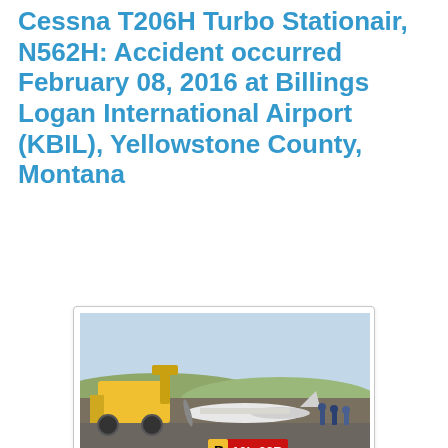Cessna T206H Turbo Stationair, N562H: Accident occurred February 08, 2016 at Billings Logan International Airport (KBIL), Yellowstone County, Montana
[Figure (photo): Photo of a crashed Cessna aircraft on a runway being cleared by a yellow front-end loader/tractor. Several people in safety gear visible. A runway sign reading 'B 10L-28R' visible in the foreground on the tarmac.]
The National Transportation Safety Board did not travel to the scene of this accident.
Additional Participating Entity:
Federal Aviation Administration Flight Standards